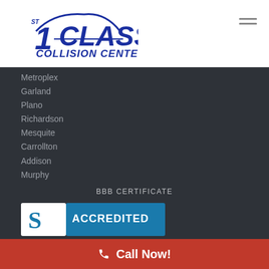[Figure (logo): 1st Class Collision Center logo with blue stylized number 1 and car silhouette above the text]
Metroplex
Garland
Plano
Richardson
Mesquite
Carrollton
Addison
Murphy
BBB CERTIFICATE
[Figure (logo): BBB Accredited Business badge with blue background and S flame logo]
Call Now!